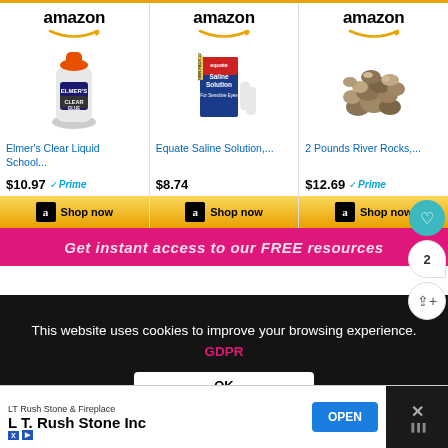[Figure (screenshot): Three Amazon product cards side by side: Elmer's Clear Liquid School Glue at $10.97 with Prime, Equate Saline Solution at $8.74, and 2 Pounds River Rocks at $12.69 with Prime. Each card has Amazon logo, product image, title link, price, and Shop now button.]
Get instant access to our FREE resources
This website uses cookies to improve your browsing experience. GDPR
OK
LT Rush Stone & Fireplace
L T. Rush Stone Inc
OPEN